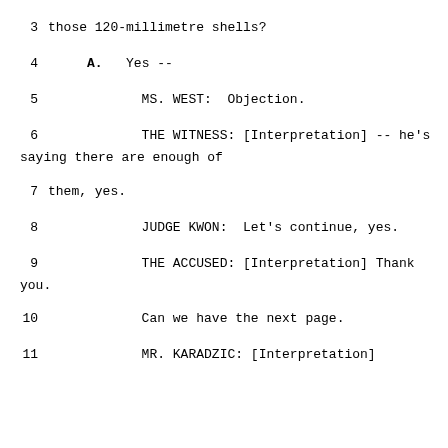3      those 120-millimetre shells?
4         A.   Yes --
5                  MS. WEST:  Objection.
6                  THE WITNESS: [Interpretation] -- he's saying there are enough of
7         them, yes.
8                  JUDGE KWON:  Let's continue, yes.
9                  THE ACCUSED: [Interpretation] Thank you.
10                 Can we have the next page.
11                 MR. KARADZIC: [Interpretation]